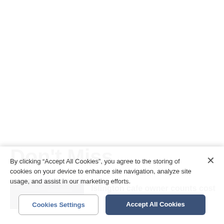Don't Miss
[Figure (photo): Dark image of what appears to be a car interior or engine bay, partially visible]
Islington cafe owner counts cost of
By clicking “Accept All Cookies”, you agree to the storing of cookies on your device to enhance site navigation, analyze site usage, and assist in our marketing efforts.
Cookies Settings
Accept All Cookies